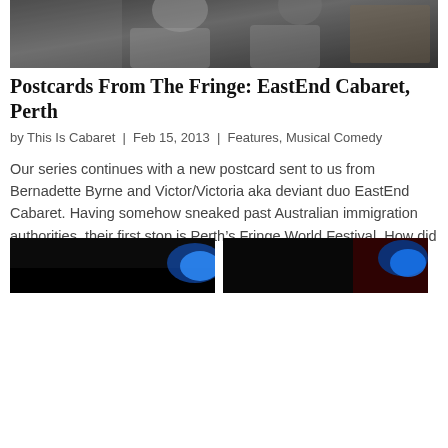[Figure (photo): Cropped top portion of a photo showing performers at EastEnd Cabaret, Perth. Two figures visible, dark tones, festival setting.]
Postcards From The Fringe: EastEnd Cabaret, Perth
by This Is Cabaret | Feb 15, 2013 | Features, Musical Comedy
Our series continues with a new postcard sent to us from Bernadette Byrne and Victor/Victoria aka deviant duo EastEnd Cabaret. Having somehow sneaked past Australian immigration authorities, their first stop is Perth’s Fringe World Festival. How did they get on?…
[Figure (photo): Two small cropped thumbnail images at the bottom of the article, both dark with blue/neon lighting suggesting cabaret or stage performance scenes.]